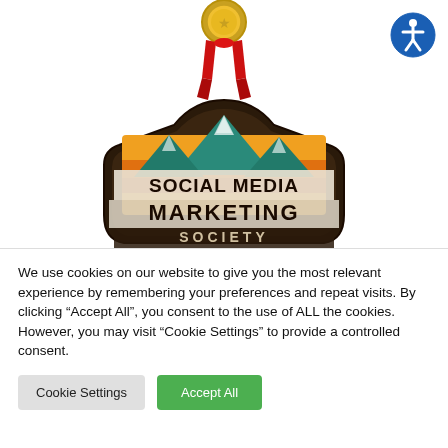[Figure (logo): Gold medal with red ribbon at top, partially visible]
[Figure (logo): Accessibility icon - blue circle with white person figure]
[Figure (logo): Social Media Marketing Society logo - badge shape with mountain/sunset illustration and text SOCIAL MEDIA MARKETING SOCIETY]
We use cookies on our website to give you the most relevant experience by remembering your preferences and repeat visits. By clicking “Accept All”, you consent to the use of ALL the cookies. However, you may visit "Cookie Settings" to provide a controlled consent.
Cookie Settings
Accept All